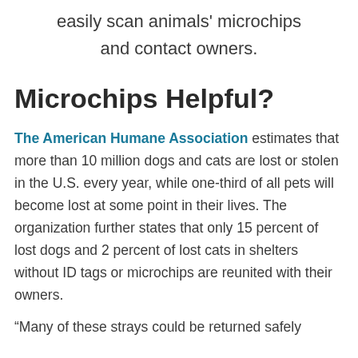easily scan animals' microchips and contact owners.
Microchips Helpful?
The American Humane Association estimates that more than 10 million dogs and cats are lost or stolen in the U.S. every year, while one-third of all pets will become lost at some point in their lives. The organization further states that only 15 percent of lost dogs and 2 percent of lost cats in shelters without ID tags or microchips are reunited with their owners.
“Many of these strays could be returned safely